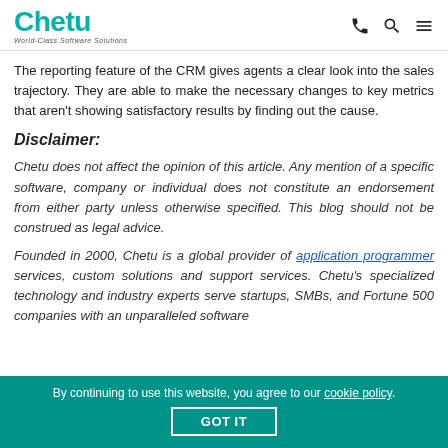Chetu — World-Class Software Solutions
The reporting feature of the CRM gives agents a clear look into the sales trajectory. They are able to make the necessary changes to key metrics that aren't showing satisfactory results by finding out the cause.
Disclaimer:
Chetu does not affect the opinion of this article. Any mention of a specific software, company or individual does not constitute an endorsement from either party unless otherwise specified. This blog should not be construed as legal advice.
Founded in 2000, Chetu is a global provider of application programmer services, custom solutions and support services. Chetu's specialized technology and industry experts serve startups, SMBs, and Fortune 500 companies with an unparalleled software
By continuing to use this website, you agree to our cookie policy.  GOT IT